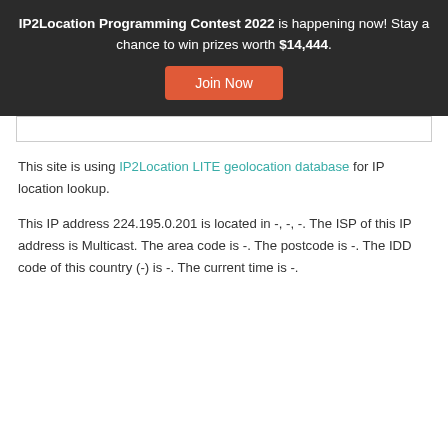IP2Location Programming Contest 2022 is happening now! Stay a chance to win prizes worth $14,444.
Join Now
This site is using IP2Location LITE geolocation database for IP location lookup.
This IP address 224.195.0.201 is located in -, -, -. The ISP of this IP address is Multicast. The area code is -. The postcode is -. The IDD code of this country (-) is -. The current time is -.